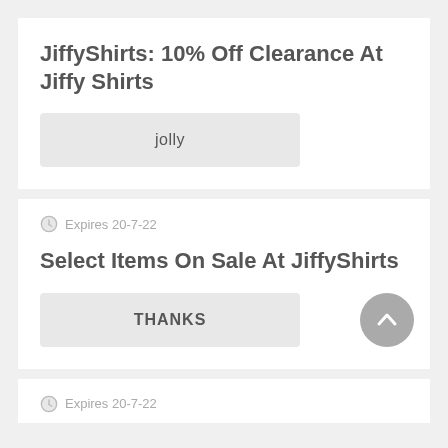JiffyShirts: 10% Off Clearance At Jiffy Shirts
jolly
Expires 20-7-22
Select Items On Sale At JiffyShirts
THANKS
Expires 20-7-22